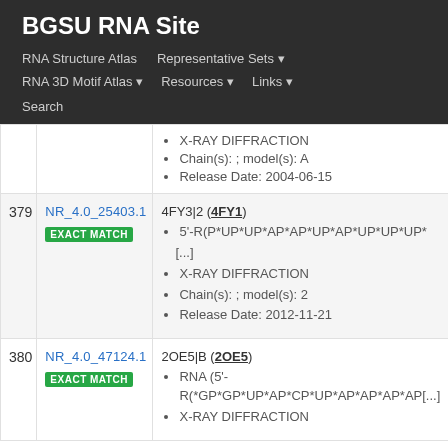BGSU RNA Site
RNA Structure Atlas  Representative Sets  RNA 3D Motif Atlas  Resources  Links  Search
X-RAY DIFFRACTION
Chain(s): ; model(s): A
Release Date: 2004-06-15
379  NR_4.0_25403.1  EXACT MATCH
4FY3|2 (4FY1)
5'-R(P*UP*UP*AP*AP*UP*AP*UP*UP*UP* [...]
X-RAY DIFFRACTION
Chain(s): ; model(s): 2
Release Date: 2012-11-21
380  NR_4.0_47124.1  EXACT MATCH
2OE5|B (2OE5)
RNA (5'-R(*GP*GP*UP*AP*CP*UP*AP*AP*AP*AP[...]
X-RAY DIFFRACTION